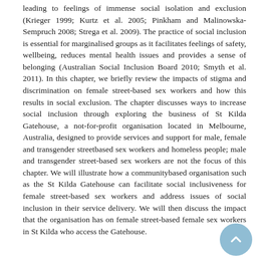leading to feelings of immense social isolation and exclusion (Krieger 1999; Kurtz et al. 2005; Pinkham and Malinowska-Sempruch 2008; Strega et al. 2009). The practice of social inclusion is essential for marginalised groups as it facilitates feelings of safety, wellbeing, reduces mental health issues and provides a sense of belonging (Australian Social Inclusion Board 2010; Smyth et al. 2011). In this chapter, we briefly review the impacts of stigma and discrimination on female street-based sex workers and how this results in social exclusion. The chapter discusses ways to increase social inclusion through exploring the business of St Kilda Gatehouse, a not-for-profit organisation located in Melbourne, Australia, designed to provide services and support for male, female and transgender streetbased sex workers and homeless people; male and transgender street-based sex workers are not the focus of this chapter. We will illustrate how a communitybased organisation such as the St Kilda Gatehouse can facilitate social inclusiveness for female street-based sex workers and address issues of social inclusion in their service delivery. We will then discuss the impact that the organisation has on female street-based female sex workers in St Kilda who access the Gatehouse.